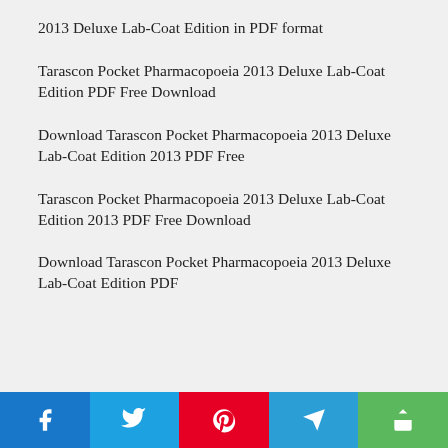2013 Deluxe Lab-Coat Edition in PDF format
Tarascon Pocket Pharmacopoeia 2013 Deluxe Lab-Coat Edition PDF Free Download
Download Tarascon Pocket Pharmacopoeia 2013 Deluxe Lab-Coat Edition 2013 PDF Free
Tarascon Pocket Pharmacopoeia 2013 Deluxe Lab-Coat Edition 2013 PDF Free Download
Download Tarascon Pocket Pharmacopoeia 2013 Deluxe Lab-Coat Edition PDF